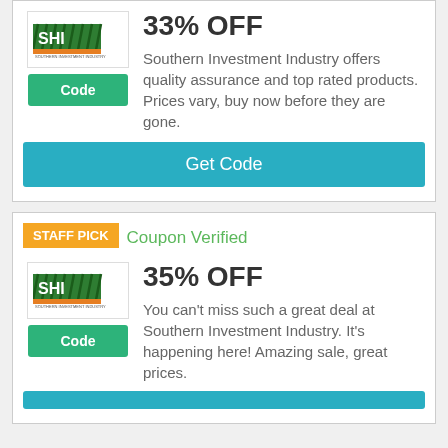33% OFF
Southern Investment Industry offers quality assurance and top rated products. Prices vary, buy now before they are gone.
Get Code
STAFF PICK
Coupon Verified
35% OFF
You can't miss such a great deal at Southern Investment Industry. It's happening here! Amazing sale, great prices.